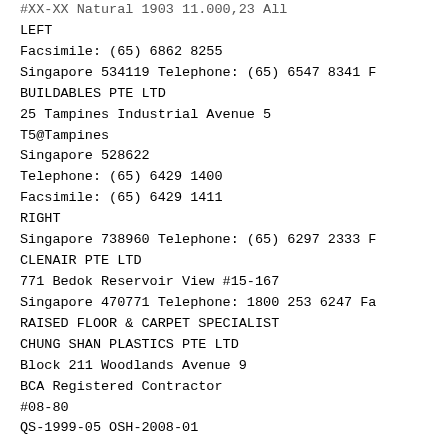#XX-XX Natural 1903 11.000,23 All
LEFT
Facsimile: (65) 6862 8255
Singapore 534119 Telephone: (65) 6547 8341 F
BUILDABLES PTE LTD
25 Tampines Industrial Avenue 5
T5@Tampines
Singapore 528622
Telephone: (65) 6429 1400
Facsimile: (65) 6429 1411
RIGHT
Singapore 738960 Telephone: (65) 6297 2333 F
CLENAIR PTE LTD
771 Bedok Reservoir View #15-167
Singapore 470771 Telephone: 1800 253 6247 Fa
RAISED FLOOR & CARPET SPECIALIST
CHUNG SHAN PLASTICS PTE LTD
Block 211 Woodlands Avenue 9
BCA Registered Contractor
#08-80
QS-1999-05 OSH-2008-01